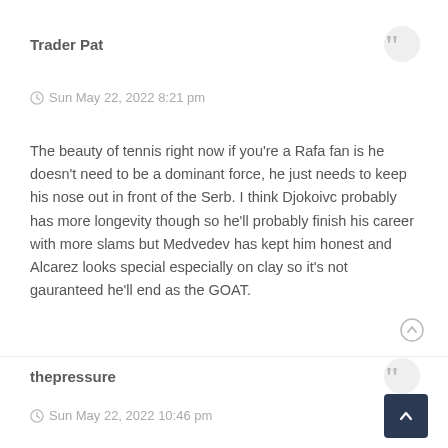Trader Pat
Sun May 22, 2022 8:21 pm
The beauty of tennis right now if you're a Rafa fan is he doesn't need to be a dominant force, he just needs to keep his nose out in front of the Serb. I think Djokoivc probably has more longevity though so he'll probably finish his career with more slams but Medvedev has kept him honest and Alcarez looks special especially on clay so it's not gauranteed he'll end as the GOAT.
thepressure
Sun May 22, 2022 10:46 pm